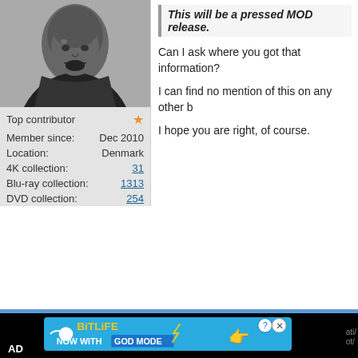[Figure (photo): Black and white portrait photo of a man]
Top contributor ★
Member since: Dec 2010
Location: Denmark
4K collection: 31
Blu-ray collection: 1313
DVD collection: 254
This will be a pressed MOD release.
Can I ask where you got that information?
I can find no mention of this on any other b
I hope you are right, of course.
[Figure (screenshot): BitLife advertisement banner - NOW WITH GOD MODE]
AD
iTunes collection: 75